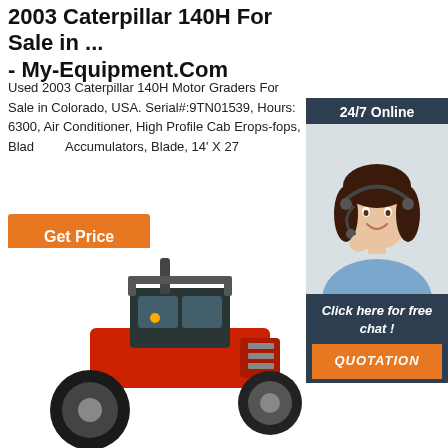2003 Caterpillar 140H For Sale in ... - My-Equipment.Com
Used 2003 Caterpillar 140H Motor Graders For Sale in Colorado, USA. Serial#:9TN01539, Hours: 6300, Air Conditioner, High Profile Cab Erops-fops, Blade Lift Accumulators, Blade, 14' X 27
Get Price
[Figure (photo): Customer service representative with headset smiling, with '24/7 Online' header and 'Click here for free chat! QUOTATION' footer in a dark blue chat widget on the right side]
[Figure (photo): Red motor grader / tractor machine partially visible at the bottom of the page]